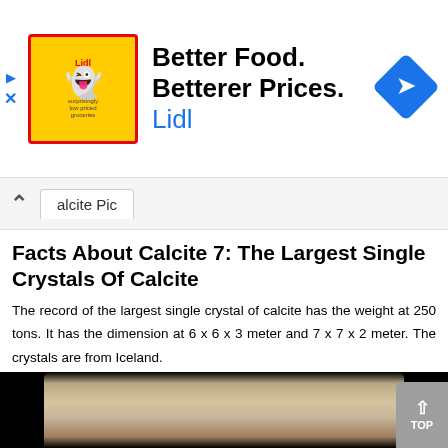[Figure (infographic): Lidl advertisement banner: Better Food. Betterer Prices. Lidl. Lidl logo on yellow background with ghost mascot, blue diamond arrow icon on right.]
alcite Pic
Facts About Calcite 7: The Largest Single Crystals Of Calcite
The record of the largest single crystal of calcite has the weight at 250 tons. It has the dimension at 6 x 6 x 3 meter and 7 x 7 x 2 meter. The crystals are from Iceland.
Facts about Calcite 8: the sedimentary rocks
The limestone occupies 10 percent of sedimentary rock. The common constituent of limestone is calcite created from the dead marine organisms' shells. Get bauxite facts here.
[Figure (photo): Photo of a calcite crystal on black background, showing a pale beige/cream colored crystal chunk.]